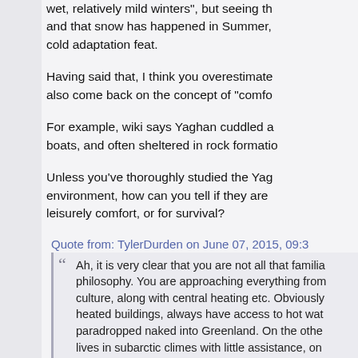wet, relatively mild winters", but seeing that and that snow has happened in Summer, cold adaptation feat.
Having said that, I think you overestimate also come back on the concept of "comfo
For example, wiki says Yaghan cuddled a boats, and often sheltered in rock formatio
Unless you've thoroughly studied the Yag environment, how can you tell if they are leisurely comfort, or for survival?
Quote from: TylerDurden on June 07, 2015, 09:3
Ah, it is very clear that you are not all that familia philosophy. You are approaching everything from culture, along with central heating etc. Obviously heated buildings, always have access to hot wat paradropped naked into Greenland. On the othe lives in subarctic climes with little assistance, on adaptations to the cold quite soon, and more pe the aid of technology.

More to the point,my father once told me of how Norway, the guy built a snow-cave and sheltered retainer:-
http://www.motherearthnews.com/div/snow-ca